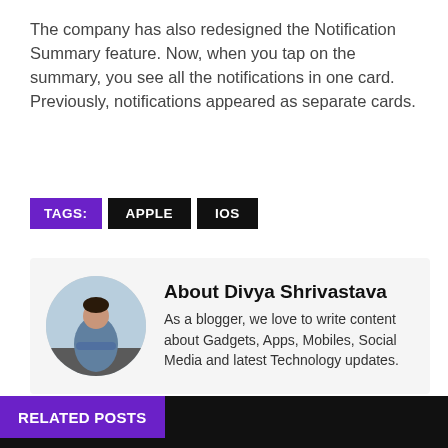The company has also redesigned the Notification Summary feature. Now, when you tap on the summary, you see all the notifications in one card. Previously, notifications appeared as separate cards.
TAGS: APPLE IOS
About Divya Shrivastava
As a blogger, we love to write content about Gadgets, Apps, Mobiles, Social Media and latest Technology updates.
RELATED POSTS
[Figure (photo): Apple logo image on dark background]